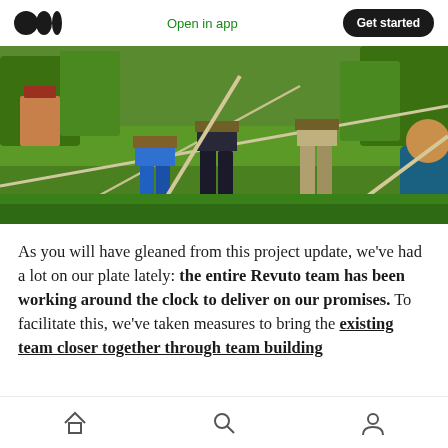Open in app  Get started
[Figure (photo): Outdoor team building activity showing people in harnesses walking on ropes/cables over a grass field, trees and structures visible in background]
As you will have gleaned from this project update, we’ve had a lot on our plate lately: the entire Revuto team has been working around the clock to deliver on our promises. To facilitate this, we’ve taken measures to bring the existing team closer together through team building
Home  Search  Profile